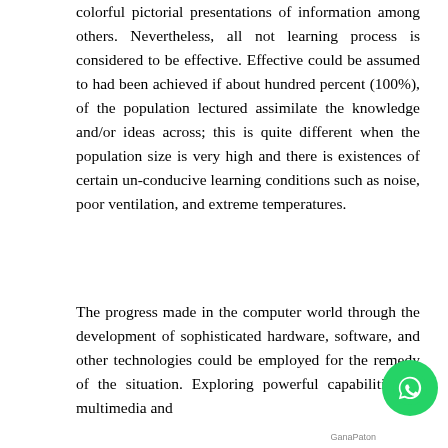colorful pictorial presentations of information among others. Nevertheless, all not learning process is considered to be effective. Effective could be assumed to had been achieved if about hundred percent (100%), of the population lectured assimilate the knowledge and/or ideas across; this is quite different when the population size is very high and there is existences of certain un-conducive learning conditions such as noise, poor ventilation, and extreme temperatures.
The progress made in the computer world through the development of sophisticated hardware, software, and other technologies could be employed for the remedy of the situation. Exploring powerful capabilities of multimedia and